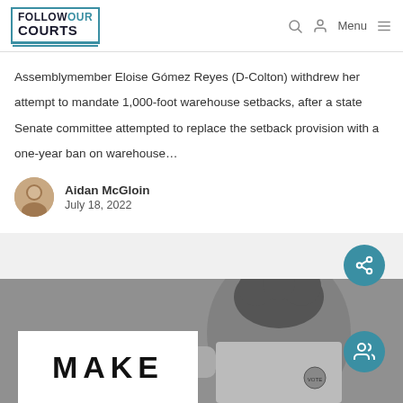Follow Our Courts — navigation header with logo, search, account, and menu icons
Assemblymember Eloise Gómez Reyes (D-Colton) withdrew her attempt to mandate 1,000-foot warehouse setbacks, after a state Senate committee attempted to replace the setback provision with a one-year ban on warehouse...
Aidan McGloin — July 18, 2022
[Figure (photo): Black and white photo of a person holding a light box sign displaying the word MAKE, with protest buttons visible]